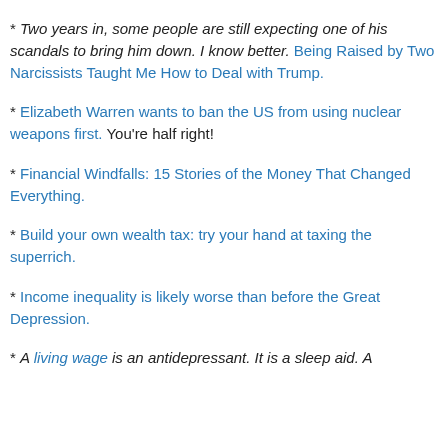* Two years in, some people are still expecting one of his scandals to bring him down. I know better. Being Raised by Two Narcissists Taught Me How to Deal with Trump.
* Elizabeth Warren wants to ban the US from using nuclear weapons first. You're half right!
* Financial Windfalls: 15 Stories of the Money That Changed Everything.
* Build your own wealth tax: try your hand at taxing the superrich.
* Income inequality is likely worse than before the Great Depression.
* A living wage is an antidepressant. It is a sleep aid. A